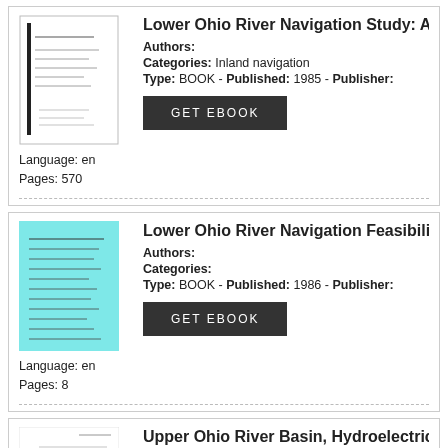Lower Ohio River Navigation Study: Ap
Authors:
Categories: Inland navigation
Type: BOOK - Published: 1985 - Publisher:
Language: en
Pages: 570
Lower Ohio River Navigation Feasibility
Authors:
Categories:
Type: BOOK - Published: 1986 - Publisher:
Language: en
Pages: 8
Upper Ohio River Basin, Hydroelectric
Authors: